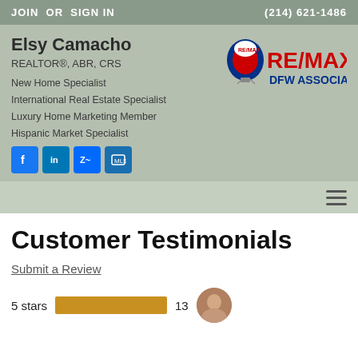JOIN  OR  SIGN IN  |  (214) 621-1486
Elsy Camacho
REALTOR®, ABR, CRS
New Home Specialist
International Real Estate Specialist
Luxury Home Marketing Member
Hispanic Market Specialist
[Figure (logo): RE/MAX DFW Associates logo with hot air balloon icon]
Customer Testimonials
Submit a Review
5 stars   13